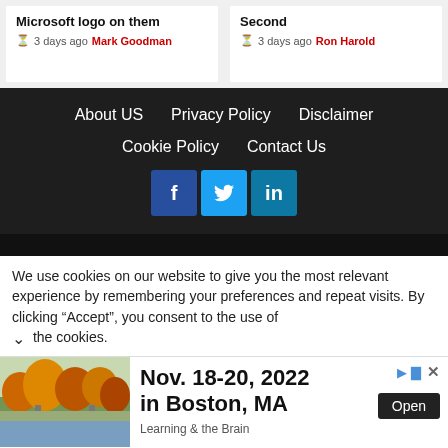Microsoft logo on them — 3 days ago Mark Goodman
Second — 3 days ago Ron Harold
About US
Privacy Policy
Disclaimer
Cookie Policy
Contact Us
[Figure (infographic): Social media icons: Facebook (f), Twitter (bird), LinkedIn (in)]
We use cookies on our website to give you the most relevant experience by remembering your preferences and repeat visits. By clicking “Accept”, you consent to the use of the cookies.
[Figure (photo): Autumn park scene with trees showing fall colors, bridge and water visible]
Nov. 18-20, 2022
in Boston, MA
Open
Learning & the Brain